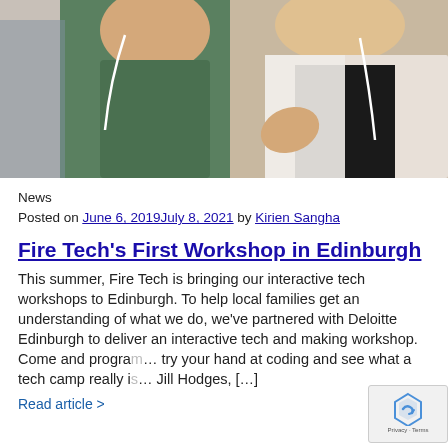[Figure (photo): Two people wearing earphones, one in a green patterned dress, one in a white lace top and black shirt, appearing to be at a tech workshop or coding event]
News
Posted on June 6, 2019July 8, 2021 by Kirien Sangha
Fire Tech's First Workshop in Edinburgh
This summer, Fire Tech is bringing our interactive tech workshops to Edinburgh. To help local families get an understanding of what we do, we've partnered with Deloitte Edinburgh to deliver an interactive tech and making workshop. Come and program… try your hand at coding and see what a tech camp really i… Jill Hodges, […]
Read article >